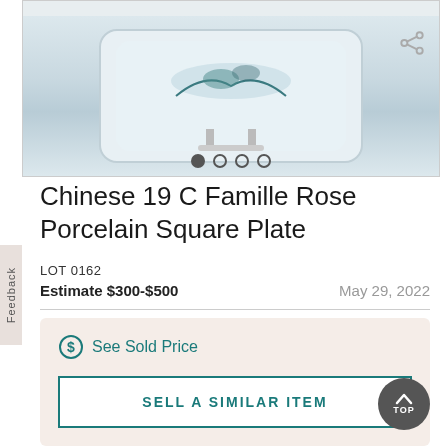[Figure (photo): A Chinese 19th century Famille Rose Porcelain Square Plate displayed on a stand, with painted landscape scene in teal/blue tones on a white background. Navigation dots below the image indicate multiple photos.]
Chinese 19 C Famille Rose Porcelain Square Plate
LOT 0162
Estimate $300-$500
May 29, 2022
See Sold Price
SELL A SIMILAR ITEM